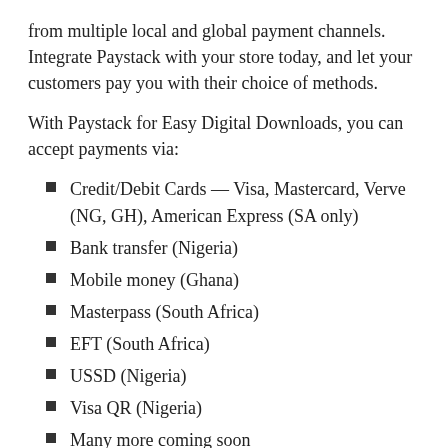from multiple local and global payment channels. Integrate Paystack with your store today, and let your customers pay you with their choice of methods.
With Paystack for Easy Digital Downloads, you can accept payments via:
Credit/Debit Cards — Visa, Mastercard, Verve (NG, GH), American Express (SA only)
Bank transfer (Nigeria)
Mobile money (Ghana)
Masterpass (South Africa)
EFT (South Africa)
USSD (Nigeria)
Visa QR (Nigeria)
Many more coming soon
WHY PAYSTACK?